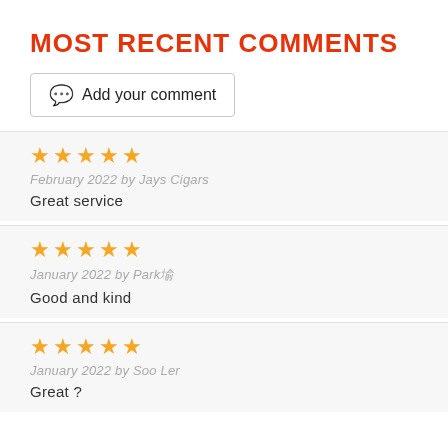MOST RECENT COMMENTS
Add your comment
★★★★★
February 2022 by Jays Cigars
Great service
★★★★★
January 2022 by Park圭원우
Good and kind
★★★★★
January 2022 by Soo Ler
Great ?